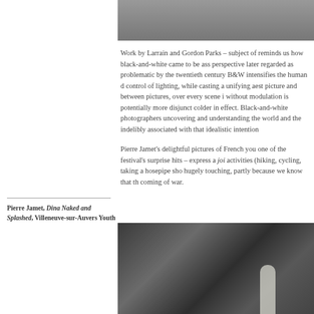[Figure (photo): Black and white photograph cropped at top, showing dark tonal image.]
Work by Larrain and Gordon Parks – subject of reminds us how black-and-white came to be ass perspective later regarded as problematic by the twentieth century B&W intensifies the human d control of lighting, while casting a unifying aest picture and between pictures, over every scene i without modulation is potentially more disjunct colder in effect. Black-and-white photographers uncovering and understanding the world and the indelibly associated with that idealistic intention
Pierre Jamet's delightful pictures of French you one of the festival's surprise hits – express a joi activities (hiking, cycling, taking a hosepipe sho hugely touching, partly because we know that th coming of war.
Pierre Jamet, Dina Naked and Splashed, Villeneuve-sur-Auvers Youth
[Figure (photo): Black and white photograph at the bottom right of the page showing a person outdoors near rocks.]